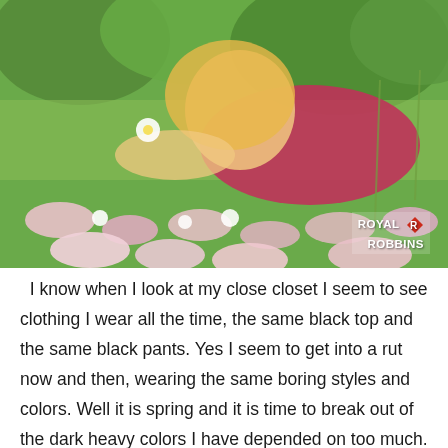[Figure (photo): A smiling blonde woman lying in a field of pink and white wildflowers, wearing a pink/magenta top, holding a small white flower. Green trees visible in the background. Royal Robbins logo in the bottom right corner.]
I know when I look at my close closet I seem to see clothing I wear all the time, the same black top and the same black pants. Yes I seem to get into a rut now and then, wearing the same boring styles and colors. Well it is spring and it is time to break out of the dark heavy colors I have depended on too much. There has to be something